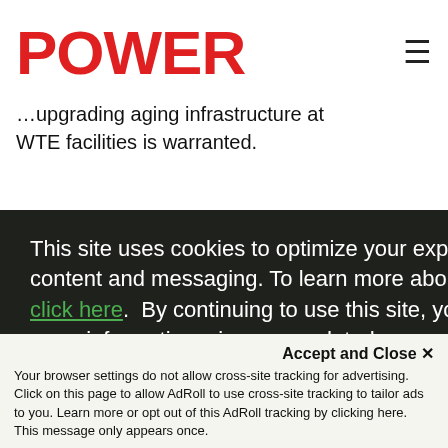POWER
…upgrading aging infrastructure at WTE facilities is warranted.
This site uses cookies to optimize your experience including more relevant content and messaging. To learn more about disabling cookies in your browser, click here.  By continuing to use this site, you accept our use of cookies. For more information, view our updated Privacy Policy.
I consent
Accept and Close ✕
Your browser settings do not allow cross-site tracking for advertising. Click on this page to allow AdRoll to use cross-site tracking to tailor ads to you. Learn more or opt out of this AdRoll tracking by clicking here. This message only appears once.